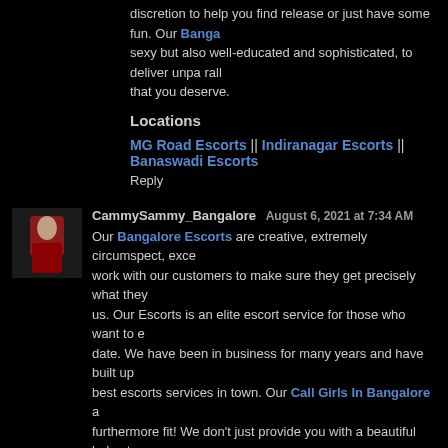discretion to help you find release or just have some fun. Our Bangalore ... sexy but also well-educated and sophisticated, to deliver unpa ralle... that you deserve.
Locations
MG Road Escorts || Indiranagar Escorts || Banaswadi Escorts
Reply
CammySammy_Bangalore  August 6, 2021 at 7:34 AM
Our Bangalore Escorts are creative, extremely circumspect, excel... work with our customers to make sure they get precisely what they... us. Our Escorts is an elite escort service for those who want to e... date. We have been in business for many years and have built up... best escorts services in town. Our Call Girls In Bangalore a... furthermore fit! We don't just provide you with a beautiful lady at yo... complete discretion you can be sure that anything you say will sta... girls are extremely circumspect.
Reply
Mumbai Escorts services at affordable rates with an aim to prov... moments.  August 6, 2021 at 9:20 AM
Welcome to our Escorts In Mumbai, and thank you for visiting. We... agency that offers erotic services in the mumbai. Our girls are the... you with pleasure and satisfaction. For the best in pleasure, satisf...